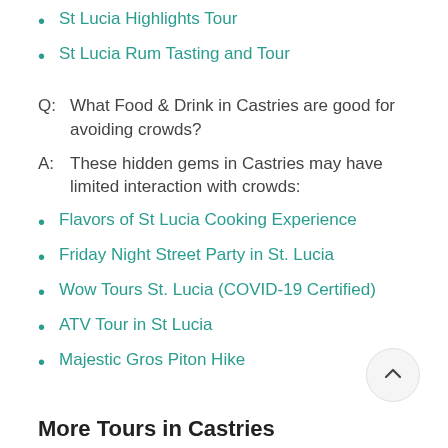St Lucia Highlights Tour
St Lucia Rum Tasting and Tour
Q:  What Food & Drink in Castries are good for avoiding crowds?
A:  These hidden gems in Castries may have limited interaction with crowds:
Flavors of St Lucia Cooking Experience
Friday Night Street Party in St. Lucia
Wow Tours St. Lucia (COVID-19 Certified)
ATV Tour in St Lucia
Majestic Gros Piton Hike
More Tours in Castries
Art & Culture | Shops & Workshops | Food & Drink |